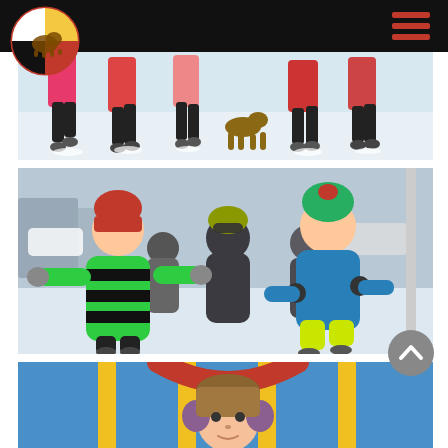Navigation header with logo and menu
[Figure (photo): Children running and playing in snow, seen from waist down, wearing winter clothing including pink and black snow pants]
[Figure (photo): Group of children running toward camera in a snowy school playground, wearing colorful winter jackets and hats - one in red hat with green striped jacket, another in blue jacket with green snow pants]
[Figure (photo): Young girl with earmuffs on a colorful playground structure with red and yellow equipment visible]